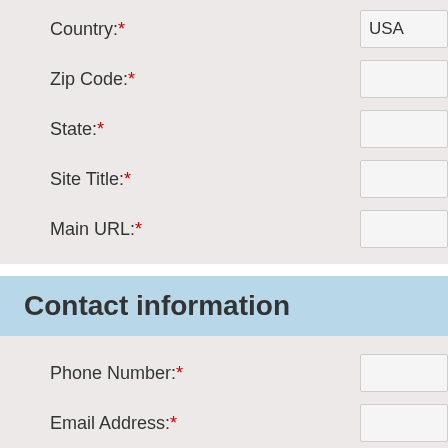Country:*
Zip Code:*
State:*
Site Title:*
Main URL:*
Contact information
Phone Number:*
Email Address:*
Instant messaging service:
* Please choose an instant messaging service in the second.
Payment